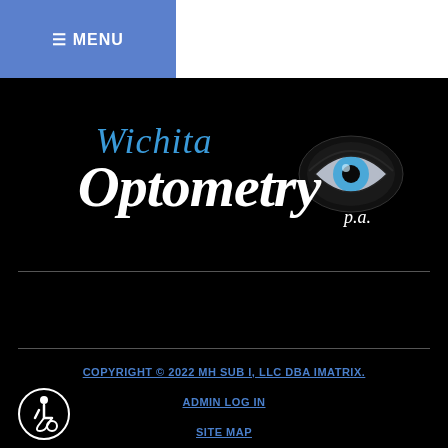≡ MENU
[Figure (logo): Wichita Optometry P.A. logo with eye graphic — 'Wichita' in blue italic text, 'Optometry' in large white italic text, 'p.a.' in small white text, and a stylized eye with blue iris on the right]
COPYRIGHT © 2022 MH SUB I, LLC DBA IMATRIX.
ADMIN LOG IN
SITE MAP